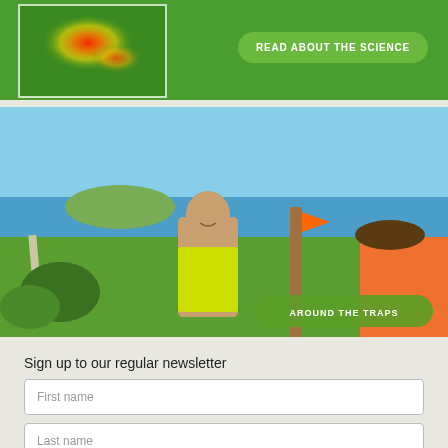[Figure (infographic): Green banner with a heatmap image (thermal/heat distribution overlay on a map region) on the left, and a 'Read About The Science' button on the right.]
[Figure (photo): Woman in hi-vis vest smiling while working outdoors with a coastal landscape in the background. Another person partially visible on the right. An 'Around The Traps' button overlaid at bottom right.]
Sign up to our regular newsletter
First name
Last name